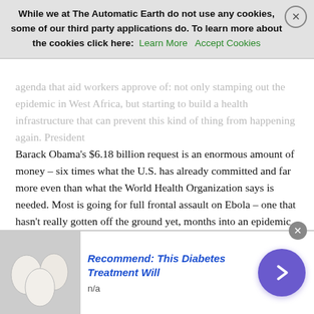While we at The Automatic Earth do not use any cookies, some of our third party applications do. To learn more about the cookies click here: Learn More  Accept Cookies
Barack Obama's $6.18 billion request is an enormous amount of money – six times what the U.S. has already committed and far more even than what the World Health Organization says is needed. Most is going for full frontal assault on Ebola – one that hasn't really gotten off the ground yet, months into an epidemic that has been out of control despite an outcry from international groups and governments alike. But billions are also being quietly allocated to building a health care system in the countries suffering the most – a less sexy approach that could prevent another epidemic in the future. Most aid groups are focused on eradicating the virus, which has infected at least 13,000 people, probably more, and killed at least 5,000 of them.
That's where the public support is; donors and taxpayers alike prefer to focus on a specific goal, and an emergency always gets
[Figure (advertisement): Advertisement banner with image of white eggs on left, blue italic text 'Recommend: This Diabetes Treatment Will' with 'n/a' below, and a purple circle arrow button on right. Close button (x) in top right.]